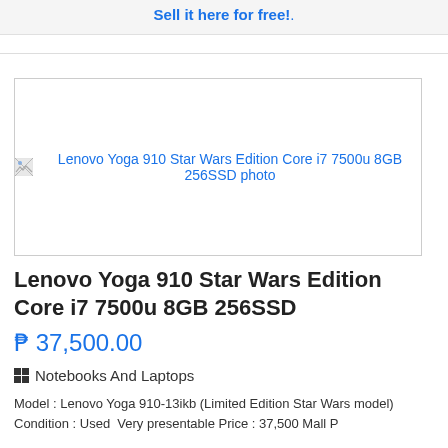Sell it here for free!.
[Figure (photo): Broken image placeholder for Lenovo Yoga 910 Star Wars Edition Core i7 7500u 8GB 256SSD photo]
Lenovo Yoga 910 Star Wars Edition Core i7 7500u 8GB 256SSD
₱ 37,500.00
Notebooks And Laptops
Model : Lenovo Yoga 910-13ikb (Limited Edition Star Wars model) Condition : Used  Very presentable Price : 37,500 Mall P